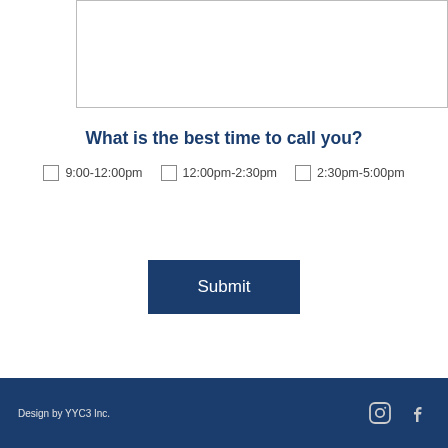[textarea field]
What is the best time to call you?
☐ 9:00-12:00pm
☐ 12:00pm-2:30pm
☐ 2:30pm-5:00pm
Submit
Design by YYC3 Inc.